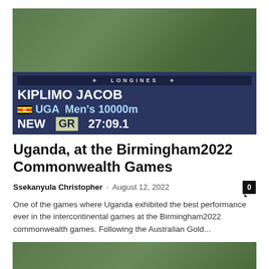[Figure (photo): Photo of Kiplimo Jacob athlete from Uganda draped in Ugandan flag, standing next to a Longines scoreboard showing his name, UGA Men's 10000m, NEW GR 27:09.1]
Uganda, at the Birmingham2022 Commonwealth Games
Ssekanyula Christopher · August 12, 2022
One of the games where Uganda exhibited the best performance ever in the intercontinental games at the Birmingham2022 commonwealth games. Following the Australian Gold...
[Figure (photo): Partial photo at the bottom of the page, appears to show a green outdoor scene]